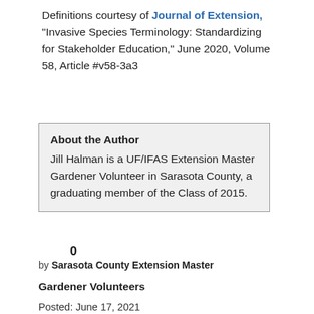Definitions courtesy of Journal of Extension, "Invasive Species Terminology: Standardizing for Stakeholder Education," June 2020, Volume 58, Article #v58-3a3
About the Author
Jill Halman is a UF/IFAS Extension Master Gardener Volunteer in Sarasota County, a graduating member of the Class of 2015.
0
by Sarasota County Extension Master
Gardener Volunteers
Posted: June 17, 2021